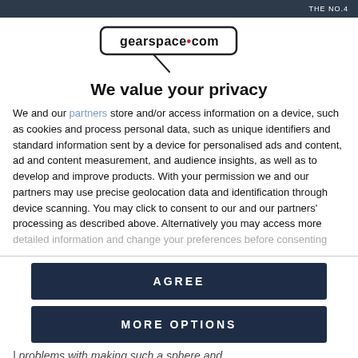THE NO.4
[Figure (logo): gearspace.com logo in a rounded rectangle with a microphone cable graphic beneath]
We value your privacy
We and our partners store and/or access information on a device, such as cookies and process personal data, such as unique identifiers and standard information sent by a device for personalised ads and content, ad and content measurement, and audience insights, as well as to develop and improve products. With your permission we and our partners may use precise geolocation data and identification through device scanning. You may click to consent to our and our partners' processing as described above. Alternatively you may access more detailed information and change your preferences before consenting
AGREE
MORE OPTIONS
problems with making such a sphere and